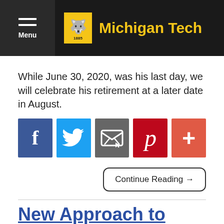Menu | Michigan Tech
While June 30, 2020, was his last day, we will celebrate his retirement at a later date in August.
[Figure (other): Social media share buttons: Facebook, Twitter, Email, Pinterest, and a plus/more button]
Continue Reading →
New Approach to Simultaneous In Situ Measurements